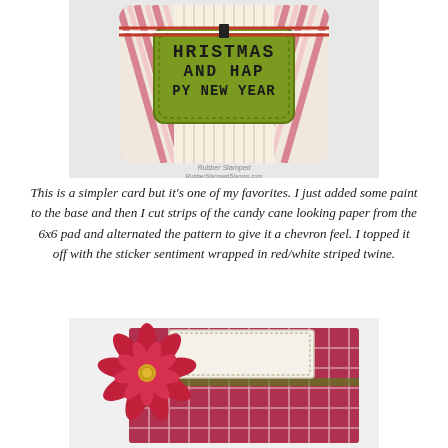[Figure (photo): Christmas card with candy cane striped chevron pattern paper, green label sticker sentiment reading 'CHRISTMAS AND HAPPY NEW YEAR', wrapped in red/white striped twine. Light gray background.]
This is a simpler card but it's one of my favorites. I just added some paint to the base and then I cut strips of the candy cane looking paper from the 6x6 pad and alternated the pattern to give it a chevron feel. I topped it off with the sticker sentiment wrapped in red/white striped twine.
[Figure (photo): Handmade card featuring a red poinsettia flower embellishment on the left, with a cream-colored textured panel and red plaid/checkered patterned paper, green accents.]